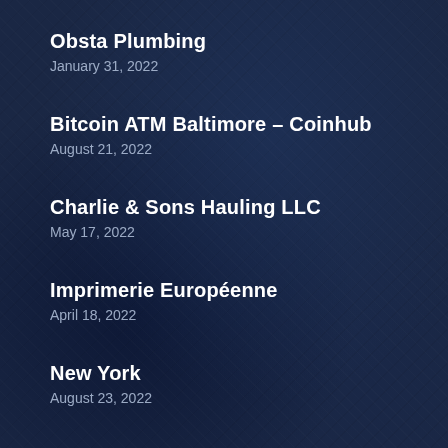Obsta Plumbing
January 31, 2022
Bitcoin ATM Baltimore – Coinhub
August 21, 2022
Charlie & Sons Hauling LLC
May 17, 2022
Imprimerie Européenne
April 18, 2022
New York
August 23, 2022